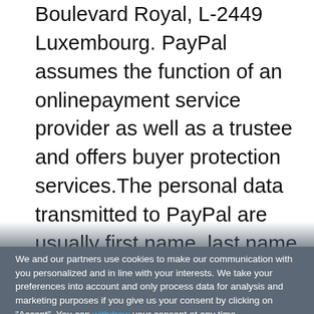Boulevard Royal, L-2449 Luxembourg. PayPal assumes the function of an onlinepayment service provider as well as a trustee and offers buyer protection services.The personal data transmitted to PayPal are usually first name, last name, address, emailaddress, IP address or other data that are
We and our partners use cookies to make our communication with you personalized and in line with your interests. We take your preferences into account and only process data for analysis and marketing purposes if you give us your consent by clicking on "Accept". You can withdraw your consent at any time.
ACCEPT
SHOW DETAILS
Powered by usercentrics
Imprint | Privacy Policy